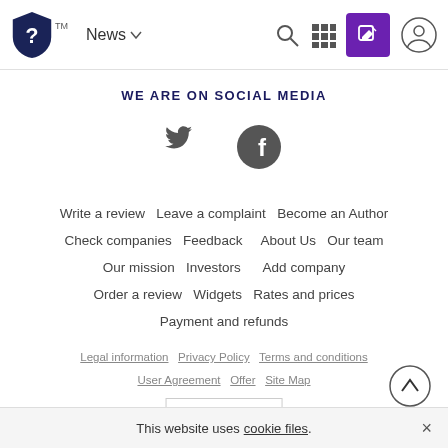[Figure (screenshot): Website navigation bar with logo (shield with question mark and TM), News dropdown, search icon, grid icon, purple edit button, and user profile icon]
WE ARE ON SOCIAL MEDIA
[Figure (illustration): Twitter bird icon and Facebook 'f' icon in dark gray]
Write a review  Leave a complaint  Become an Author
Check companies  Feedback  About Us  Our team
Our mission  Investors  Add company
Order a review  Widgets  Rates and prices
Payment and refunds
Legal information  Privacy Policy  Terms and conditions
User Agreement  Offer  Site Map
English
This website uses cookie files.